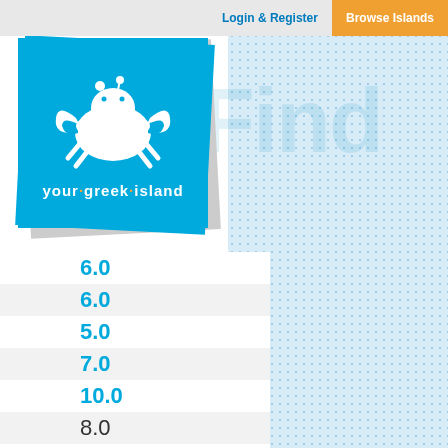Login & Register | Browse Islands
[Figure (logo): your.greek.island logo with crab icon on blue background, slightly tilted]
6.0
6.0
5.0
7.0
10.0
8.0
7.0